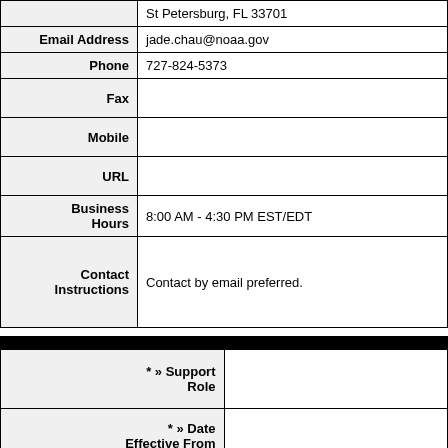|  | St Petersburg, FL 33701 |
| Email Address | jade.chau@noaa.gov |
| Phone | 727-824-5373 |
| Fax |  |
| Mobile |  |
| URL |  |
| Business Hours | 8:00 AM - 4:30 PM EST/EDT |
| Contact Instructions | Contact by email preferred. |
| * » Support Role |  |
| * » Date Effective From |  |
| Date Effective To |  |